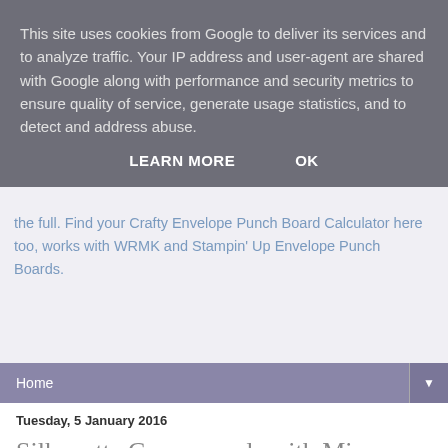This site uses cookies from Google to deliver its services and to analyze traffic. Your IP address and user-agent are shared with Google along with performance and security metrics to ensure quality of service, generate usage statistics, and to detect and address abuse.
LEARN MORE    OK
the full. Find your Crafty Envelope Punch Board Calculator here too, works with WRMK and Stampin' Up Envelope Punch Boards.
Home ▼
Tuesday, 5 January 2016
Silhouette Cameo cards with Minc foiling
Hello Crafty friends,
I had lots of fun making these cards using my Silhouette